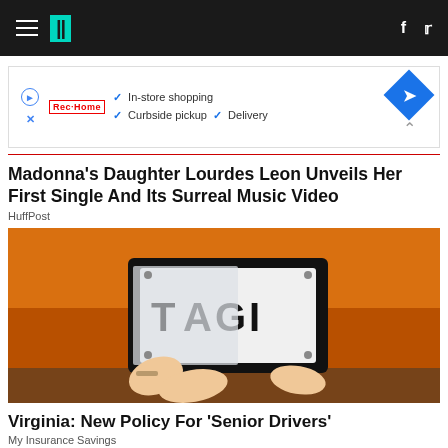HuffPost navigation bar with hamburger menu, logo, Facebook and Twitter icons
[Figure (screenshot): Advertisement banner: In-store shopping, Curbside pickup, Delivery with blue diamond icon]
Madonna's Daughter Lourdes Leon Unveils Her First Single And Its Surreal Music Video
HuffPost
[Figure (photo): Person holding a frosted plastic cover over an orange car's license plate reading partially 'AGI']
Virginia: New Policy For 'Senior Drivers'
My Insurance Savings